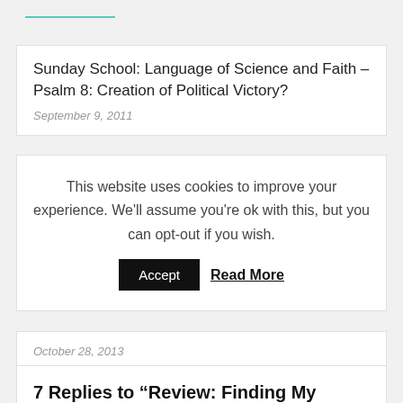Sunday School: Language of Science and Faith – Psalm 8: Creation of Political Victory?
September 9, 2011
This website uses cookies to improve your experience. We'll assume you're ok with this, but you can opt-out if you wish. Accept   Read More
October 28, 2013
7 Replies to “Review: Finding My